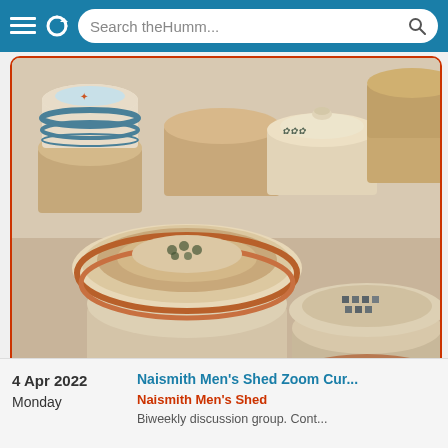Search theHumm...
[Figure (photo): Collection of handmade ceramic lidded pots/bowls arranged on a wooden surface. Various sizes, some with decorative patterns including floral motifs, a botanical print, and abstract designs. Colors include cream, teal/blue, terracotta, and natural stoneware tones.]
4 Apr 2022
Monday
Naismith Men's Shed Zoom Cur...
Naismith Men's Shed
Biweekly discussion group. Cont...